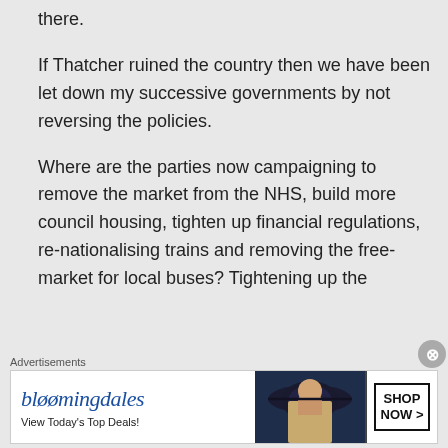there.
If Thatcher ruined the country then we have been let down my successive governments by not reversing the policies.
Where are the parties now campaigning to remove the market from the NHS, build more council housing, tighten up financial regulations, re-nationalising trains and removing the free-market for local buses? Tightening up the
Advertisements
[Figure (illustration): Bloomingdale's advertisement banner with logo, 'View Today's Top Deals!' text, woman wearing a large hat, and 'SHOP NOW >' button]